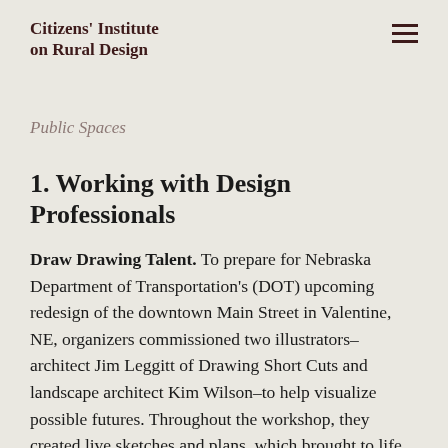Citizens' Institute on Rural Design
Public Spaces
1. Working with Design Professionals
Draw Drawing Talent. To prepare for Nebraska Department of Transportation's (DOT) upcoming redesign of the downtown Main Street in Valentine, NE, organizers commissioned two illustrators–architect Jim Leggitt of Drawing Short Cuts and landscape architect Kim Wilson–to help visualize possible futures. Throughout the workshop, they created live sketches and plans, which brought to life the groups' ideas for building facade improvements, landscaping, gateway signage, and parking configurations. While not being overly prescriptive, these full-color sketches were instrumental in